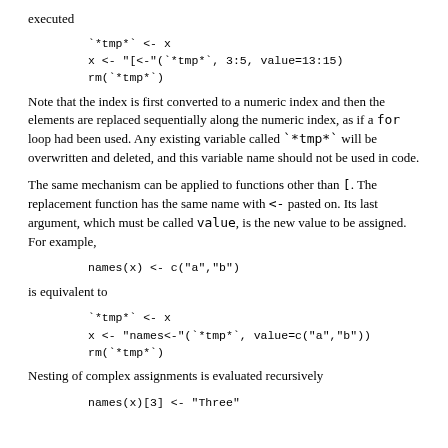executed
Note that the index is first converted to a numeric index and then the elements are replaced sequentially along the numeric index, as if a for loop had been used. Any existing variable called `*tmp*` will be overwritten and deleted, and this variable name should not be used in code.
The same mechanism can be applied to functions other than [. The replacement function has the same name with <- pasted on. Its last argument, which must be called value, is the new value to be assigned. For example,
is equivalent to
Nesting of complex assignments is evaluated recursively